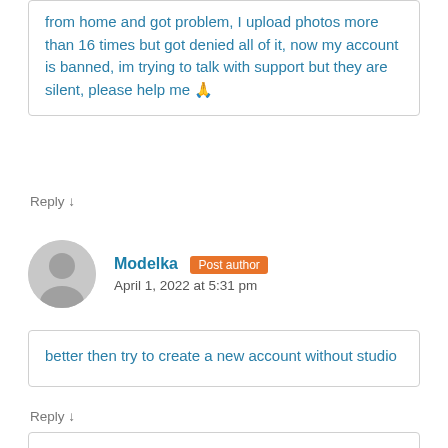from home and got problem, I upload photos more than 16 times but got denied all of it, now my account is banned, im trying to talk with support but they are silent, please help me 🙏
Reply ↓
Modelka  Post author
April 1, 2022 at 5:31 pm
better then try to create a new account without studio
Reply ↓